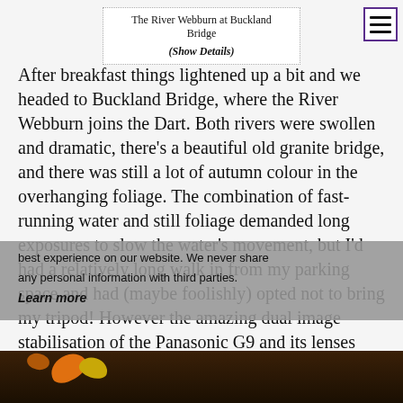The River Webburn at Buckland Bridge (Show Details)
After breakfast things lightened up a bit and we headed to Buckland Bridge, where the River Webburn joins the Dart. Both rivers were swollen and dramatic, there's a beautiful old granite bridge, and there was still a lot of autumn colour in the overhanging foliage. The combination of fast-running water and still foliage demanded long exposures to slow the water's movement, but I'd had a relatively long walk in from my parking space and had (maybe foolishly) opted not to bring my tripod! However the amazing dual image stabilisation of the Panasonic G9 and its lenses came to the rescue, and I discovered that with an ND filter on the front I could slow the exposure down to as much as 0.4s, but still get a sharp image hand-held. You judge the results.
[Figure (photo): Photograph of autumn foliage and river scene at Buckland Bridge, showing orange and yellow leaves near dark water.]